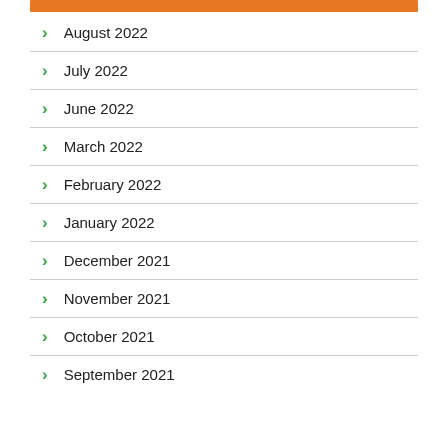August 2022
July 2022
June 2022
March 2022
February 2022
January 2022
December 2021
November 2021
October 2021
September 2021